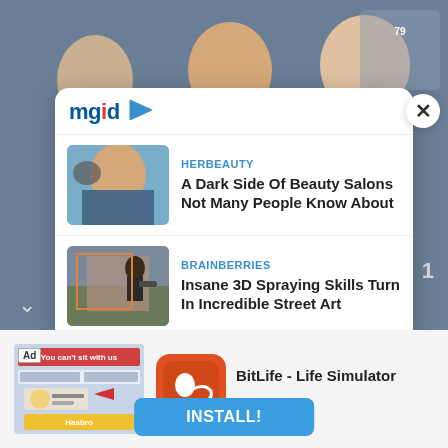[Figure (photo): Background photo of celebrities at what appears to be a film festival (Venice Film Festival). Several people visible including a man with curly hair, a woman in teal jacket, and a woman smiling.]
[Figure (logo): MGID logo with blue text and red letter i, plus a play triangle icon in blue]
HERBEAUTY
A Dark Side Of Beauty Salons Not Many People Know About
[Figure (photo): Thumbnail showing a woman at a hair salon with head back over a sink, bluish tones]
BRAINBERRIES
Insane 3D Spraying Skills Turn In Incredible Street Art
[Figure (photo): Thumbnail showing a person spray painting a large mural on a building wall outdoors]
#florence pugh  #harry styles  #olivia wilde  #film  #actors
[Figure (screenshot): Ad image block showing a game screenshot with 'You can't sit with us' text and card game interface, with Ad badge]
[Figure (logo): BitLife app icon - orange/red rounded square with white sperm cell graphic and 'BitLife' text]
BitLife - Life Simulator
INSTALL!